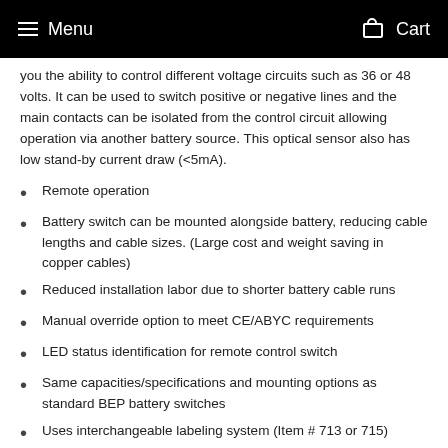Menu   Cart
you the ability to control different voltage circuits such as 36 or 48 volts. It can be used to switch positive or negative lines and the main contacts can be isolated from the control circuit allowing operation via another battery source. This optical sensor also has low stand-by current draw (<5mA).
Remote operation
Battery switch can be mounted alongside battery, reducing cable lengths and cable sizes. (Large cost and weight saving in copper cables)
Reduced installation labor due to shorter battery cable runs
Manual override option to meet CE/ABYC requirements
LED status identification for remote control switch
Same capacities/specifications and mounting options as standard BEP battery switches
Uses interchangeable labeling system (Item # 713 or 715)